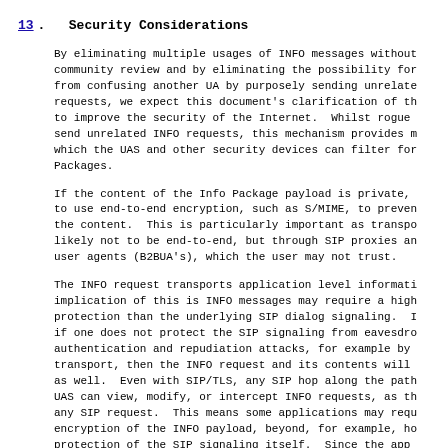13.  Security Considerations
By eliminating multiple usages of INFO messages without community review and by eliminating the possibility for from confusing another UA by purposely sending unrelate requests, we expect this document's clarification of th to improve the security of the Internet.  Whilst rogue send unrelated INFO requests, this mechanism provides m which the UAS and other security devices can filter for Packages.
If the content of the Info Package payload is private, to use end-to-end encryption, such as S/MIME, to preven the content.  This is particularly important as transpo likely not to be end-to-end, but through SIP proxies an user agents (B2BUA's), which the user may not trust.
The INFO request transports application level informati implication of this is INFO messages may require a high protection than the underlying SIP dialog signaling.  I if one does not protect the SIP signaling from eavesdro authentication and repudiation attacks, for example by  transport, then the INFO request and its contents will  as well.  Even with SIP/TLS, any SIP hop along the path UAS can view, modify, or intercept INFO requests, as th any SIP request.  This means some applications may requ encryption of the INFO payload, beyond, for example, ho protection of the SIP signaling itself.  Since the app